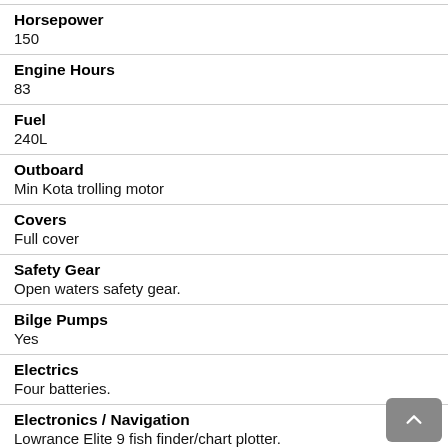Horsepower
150
Engine Hours
83
Fuel
240L
Outboard
Min Kota trolling motor
Covers
Full cover
Safety Gear
Open waters safety gear.
Bilge Pumps
Yes
Electrics
Four batteries.
Electronics / Navigation
Lowrance Elite 9 fish finder/chart plotter.
VHF radio